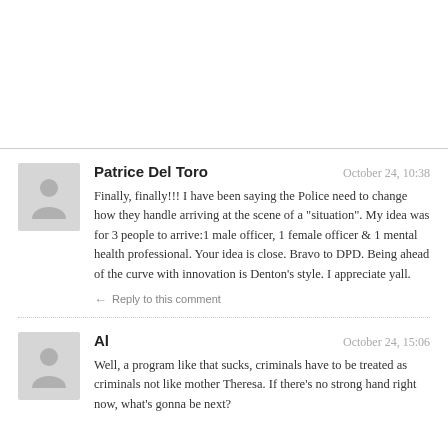Patrice Del Toro
October 24, 10:38
Finally, finally!!! I have been saying the Police need to change how they handle arriving at the scene of a "situation". My idea was for 3 people to arrive:1 male officer, 1 female officer & 1 mental health professional. Your idea is close. Bravo to DPD. Being ahead of the curve with innovation is Denton's style. I appreciate yall.
Reply to this comment
Al
October 24, 15:06
Well, a program like that sucks, criminals have to be treated as criminals not like mother Theresa. If there's no strong hand right now, what's gonna be next?